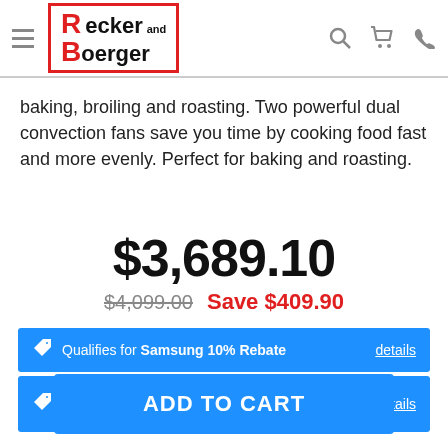Recker and Boerger
baking, broiling and roasting. Two powerful dual convection fans save you time by cooking food fast and more evenly. Perfect for baking and roasting.
$3,689.10
$4,099.00  Save $409.90
Qualifies for Samsung 10% Rebate  details
Qualifies for Exclusive Samsung up to $500 Rebate  details
ADD TO CART